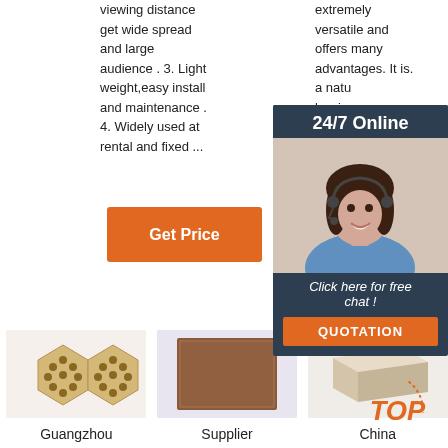viewing distance get wide spread and large audience . 3. Light weight,easy install and maintenance . 4. Widely used at rental and fixed ...
extremely versatile and offers many advantages. It is. a natural product low in salts a metal c fully wi
Get Price
Get
[Figure (photo): 24/7 Online chat widget with woman wearing headset, 'Click here for free chat!' text, and QUOTATION button]
[Figure (photo): Guangzhou product - hexagonal honeycomb ceramic bricks]
[Figure (photo): Supplier product - brown rectangular slab/board]
[Figure (photo): China product - beige/cream rectangular brick]
Guangzhou
Supplier
China